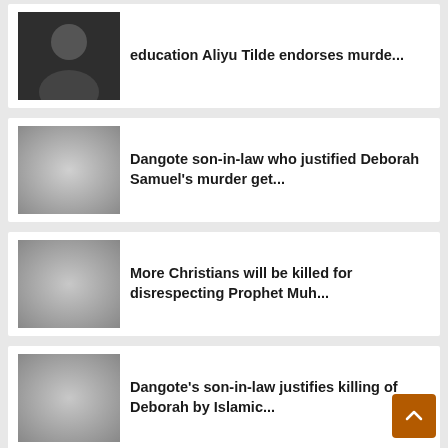education Aliyu Tilde endorses murde...
Dangote son-in-law who justified Deborah Samuel's murder get...
More Christians will be killed for disrespecting Prophet Muh...
Dangote's son-in-law justifies killing of Deborah by Islamic...
2023: AGF Malami shares 200 Mercedes, Toyota SUVs to Kebbi d...